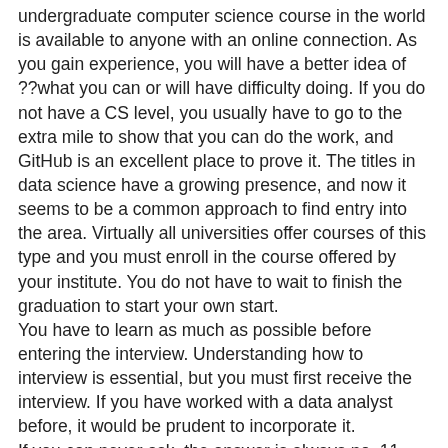undergraduate computer science course in the world is available to anyone with an online connection. As you gain experience, you will have a better idea of ??what you can or will have difficulty doing. If you do not have a CS level, you usually have to go to the extra mile to show that you can do the work, and GitHub is an excellent place to prove it. The titles in data science have a growing presence, and now it seems to be a common approach to find entry into the area. Virtually all universities offer courses of this type and you must enroll in the course offered by your institute. You do not have to wait to finish the graduation to start your own start.
You have to learn as much as possible before entering the interview. Understanding how to interview is essential, but you must first receive the interview. If you have worked with a data analyst before, it would be prudent to incorporate it.
If you can never ask, the answer is always no. 11. Try to remember that if you never ask for the answer it will always be no. You will learn things early in the event if you ask questions. To get a job for a scientist, you need a well-crafted resume and you want to be ready for a possible interview. You simply must show that you are able to